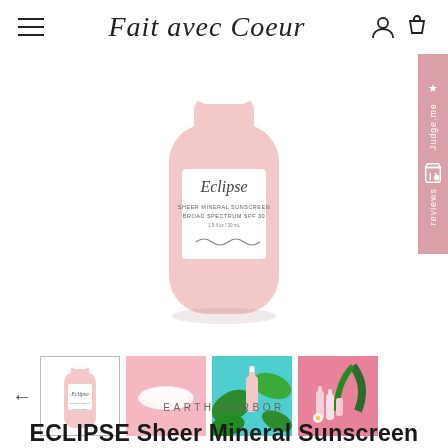Fait avec Coeur
[Figure (photo): Pink bottle of Eclipse Sheer Mineral Sunscreen Broad Spectrum SPF 30 product, 1.9 fl oz / 30 mL, with script logo and wave design on label]
[Figure (photo): Thumbnail 1: Eclipse bottle product shot]
[Figure (photo): Thumbnail 2: Cream swatch on pink background]
[Figure (photo): Thumbnail 3: Eclipse bottle with tropical plants on teal background]
[Figure (photo): Thumbnail 4: Group of pink beauty products with flowers on pink background]
EARTH HARBOR
ECLIPSE Sheer Mineral Sunscreen